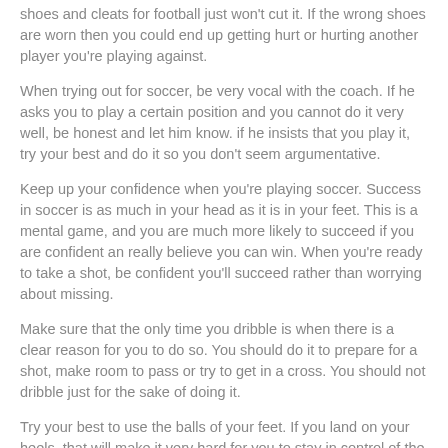shoes and cleats for football just won't cut it. If the wrong shoes are worn then you could end up getting hurt or hurting another player you're playing against.
When trying out for soccer, be very vocal with the coach. If he asks you to play a certain position and you cannot do it very well, be honest and let him know. if he insists that you play it, try your best and do it so you don't seem argumentative.
Keep up your confidence when you're playing soccer. Success in soccer is as much in your head as it is in your feet. This is a mental game, and you are much more likely to succeed if you are confident an really believe you can win. When you're ready to take a shot, be confident you'll succeed rather than worrying about missing.
Make sure that the only time you dribble is when there is a clear reason for you to do so. You should do it to prepare for a shot, make room to pass or try to get in a cross. You should not dribble just for the sake of doing it.
Try your best to use the balls of your feet. If you land on your heels, that will make it very hard for you to stay in control of the ball. You may end up stumbling a lot, which is no good, so do everything you can to stay off of